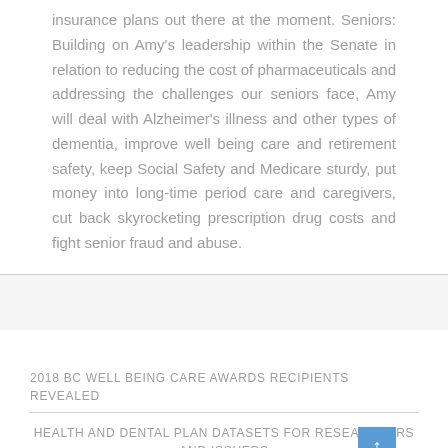insurance plans out there at the moment. Seniors: Building on Amy's leadership within the Senate in relation to reducing the cost of pharmaceuticals and addressing the challenges our seniors face, Amy will deal with Alzheimer's illness and other types of dementia, improve well being care and retirement safety, keep Social Safety and Medicare sturdy, put money into long-time period care and caregivers, cut back skyrocketing prescription drug costs and fight senior fraud and abuse.
2018 BC WELL BEING CARE AWARDS RECIPIENTS REVEALED
HEALTH AND DENTAL PLAN DATASETS FOR RESEARCHERS AND ISSUERS